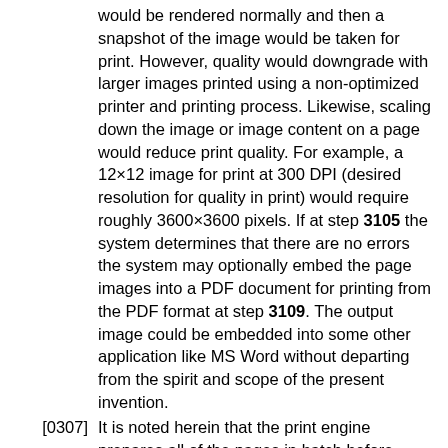would be rendered normally and then a snapshot of the image would be taken for print. However, quality would downgrade with larger images printed using a non-optimized printer and printing process. Likewise, scaling down the image or image content on a page would reduce print quality. For example, a 12×12 image for print at 300 DPI (desired resolution for quality in print) would require roughly 3600×3600 pixels. If at step 3105 the system determines that there are no errors the system may optionally embed the page images into a PDF document for printing from the PDF format at step 3109. The output image could be embedded into some other application like MS Word without departing from the spirit and scope of the present invention.
[0307] It is noted herein that the print engine prepares all of the pages in batch before releasing the materials for printing. The system then determines at step 3110 if the pre-printing process has been completed for that project. If the system determines that the page pre-processing is not complete for all of the pages of